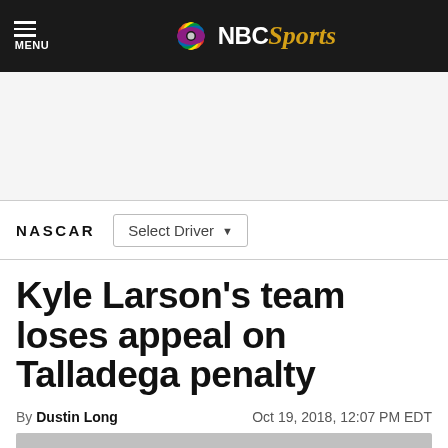NBC Sports — MENU
[Figure (other): Advertisement placeholder area]
NASCAR  Select Driver
Kyle Larson's team loses appeal on Talladega penalty
By Dustin Long   Oct 19, 2018, 12:07 PM EDT
[Figure (photo): Partial photo at bottom of page, gray background visible]